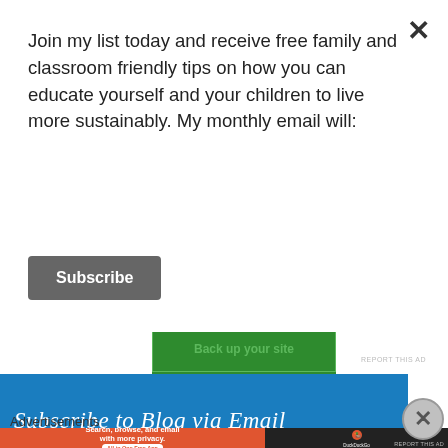Join my list today and receive free family and classroom friendly tips on how you can educate yourself and your children to live more sustainably. My monthly email will:
Subscribe
[Figure (screenshot): Green advertisement banner with 'Back up your site' button]
REPORT THIS AD
Subscribe to Blog via Email
Advertisements
[Figure (screenshot): DuckDuckGo advertisement banner: 'Search, browse, and email with more privacy. All in One Free App' with DuckDuckGo logo on dark right side]